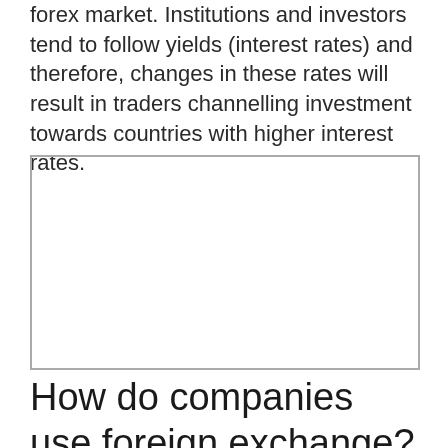forex market. Institutions and investors tend to follow yields (interest rates) and therefore, changes in these rates will result in traders channelling investment towards countries with higher interest rates.
[Figure (other): Empty bordered box region, likely placeholder for an image or chart]
How do companies use foreign exchange?